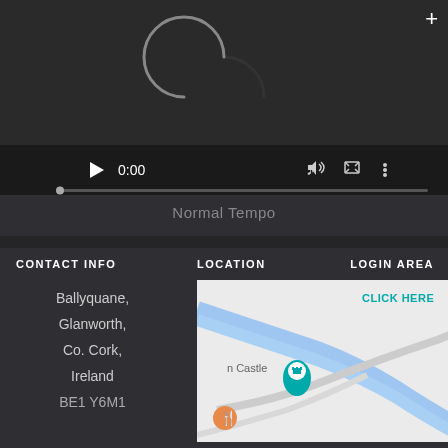[Figure (screenshot): Video player with dark background showing a loading spinner, play button, time 0:00, volume icon, fullscreen icon, more options icon, and a progress bar.]
Normal Tempo
CONTACT INFO
LOCATION
LOGIN AREA
Ballyquane, Glanworth, Co. Cork, Ireland
[Figure (map): Map showing location near a castle landmark with road and river, with a CLICK HERE teal link.]